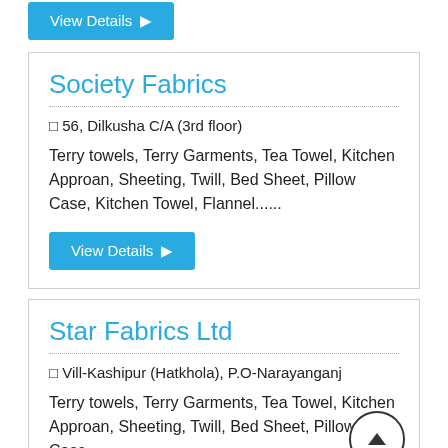View Details ▷
Society Fabrics
□ 56, Dilkusha C/A (3rd floor)
Terry towels, Terry Garments, Tea Towel, Kitchen Approan, Sheeting, Twill, Bed Sheet, Pillow Case, Kitchen Towel, Flannel......
View Details ▷
Star Fabrics Ltd
□ Vill-Kashipur (Hatkhola), P.O-Narayanganj
Terry towels, Terry Garments, Tea Towel, Kitchen Approan, Sheeting, Twill, Bed Sheet, Pillow Case,